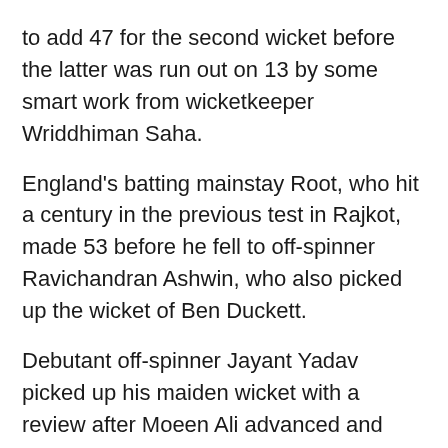to add 47 for the second wicket before the latter was run out on 13 by some smart work from wicketkeeper Wriddhiman Saha.
England's batting mainstay Root, who hit a century in the previous test in Rajkot, made 53 before he fell to off-spinner Ravichandran Ashwin, who also picked up the wicket of Ben Duckett.
Debutant off-spinner Jayant Yadav picked up his maiden wicket with a review after Moeen Ali advanced and then padded the ball away.
England were 80-5 at that stage, but Bairstow, unbeaten on 12 and Stokes ensured there was no [continues...]